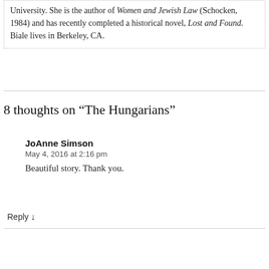University. She is the author of Women and Jewish Law (Schocken, 1984) and has recently completed a historical novel, Lost and Found. Biale lives in Berkeley, CA.
8 thoughts on “The Hungarians”
JoAnne Simson
May 4, 2016 at 2:16 pm
Beautiful story. Thank you.
Reply ↓